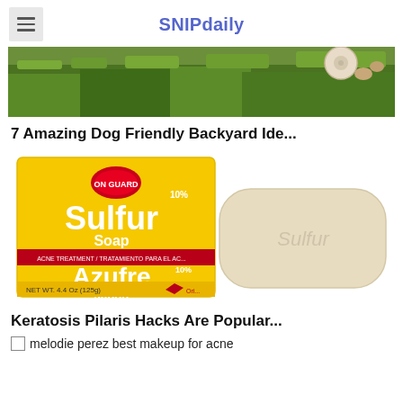SNIPdaily
[Figure (photo): Outdoor photo showing green grass with a dog's paw/ball visible in the background]
7 Amazing Dog Friendly Backyard Ide...
[Figure (photo): Product photo of Sulfur Soap 10% / Azufre Jabón by Ori Pharma, 4.4 Oz (125g), yellow packaging, with a bar of cream-colored soap stamped with 'Sulfur']
Keratosis Pilaris Hacks Are Popular...
melodie perez best makeup for acne